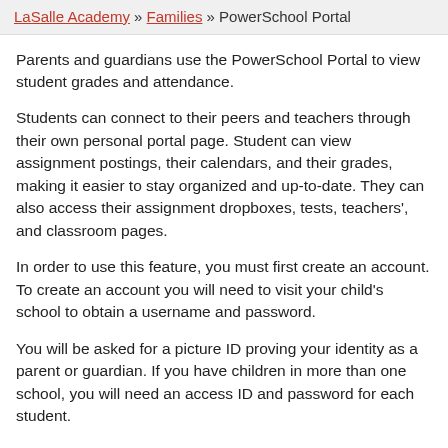LaSalle Academy » Families » PowerSchool Portal
Parents and guardians use the PowerSchool Portal to view student grades and attendance.
Students can connect to their peers and teachers through their own personal portal page. Student can view assignment postings, their calendars, and their grades, making it easier to stay organized and up-to-date. They can also access their assignment dropboxes, tests, teachers', and classroom pages.
In order to use this feature, you must first create an account. To create an account you will need to visit your child's school to obtain a username and password.
You will be asked for a picture ID proving your identity as a parent or guardian. If you have children in more than one school, you will need an access ID and password for each student.